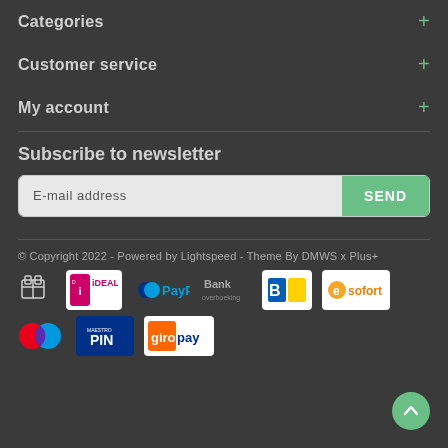Categories
Customer service
My account
Subscribe to newsletter
E-mail address
SEND
© Copyright 2022 - Powered by Lightspeed - Theme By DMWS x Plus+
[Figure (logo): Payment method icons: gift card, iDEAL, PayPal, Bank overboeking, Bancontact, Sofort, Mastercard, PIN, Giropay]